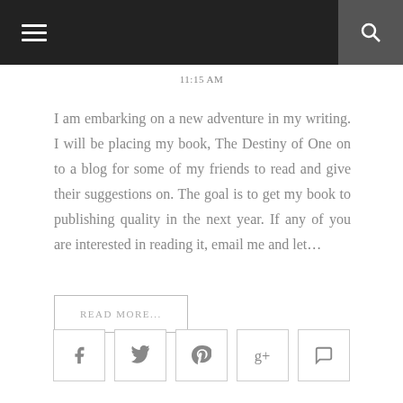Navigation bar with menu and search icons
11:15 AM
I am embarking on a new adventure in my writing. I will be placing my book, The Destiny of One on to a blog for some of my friends to read and give their suggestions on. The goal is to get my book to publishing quality in the next year. If any of you are interested in reading it, email me and let...
READ MORE...
[Figure (infographic): Social sharing icon buttons: Facebook, Twitter, Pinterest, Google+, Comment]